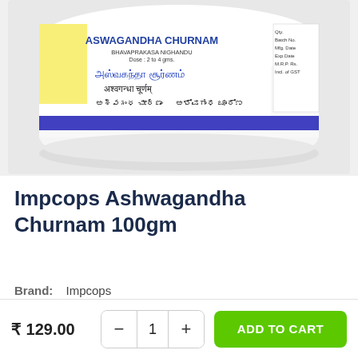[Figure (photo): Close-up photo of Impcops Aswagandha Churnam product jar showing the label with text in English, Tamil, Hindi, Telugu, and Kannada scripts. The jar is white with a blue stripe and yellow accent on the lid.]
Impcops Ashwagandha Churnam 100gm
Brand: Impcops
₹ 129.00
ADD TO CART